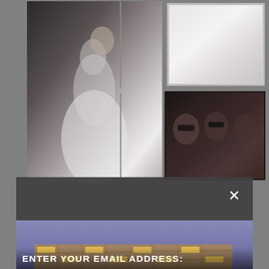[Figure (photo): Fashion photo collage showing models in white dresses (top left area) and a group of models with dramatic makeup (bottom right area), displayed on a gray background]
[Figure (screenshot): Modal dialog overlay with a close (X) button in the top right corner, containing a photograph of a modern illuminated building at dusk/night with grid-like facade, palm trees visible at bottom, with text 'ENTER YOUR EMAIL ADDRESS:' overlaid at the bottom]
ENTER YOUR EMAIL ADDRESS: